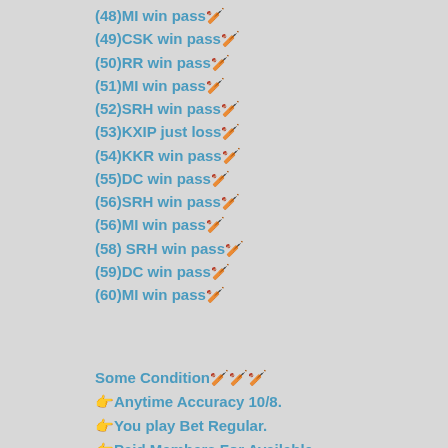(48)MI win pass🏏
(49)CSK win pass🏏
(50)RR win pass🏏
(51)MI win pass🏏
(52)SRH win pass🏏
(53)KXIP just loss🏏
(54)KKR win pass🏏
(55)DC win pass🏏
(56)SRH win pass🏏
(56)MI win pass🏏
(58) SRH win pass🏏
(59)DC win pass🏏
(60)MI win pass🏏
Some Condition🏏🏏🏏
👉Anytime Accuracy 10/8.
👉You play Bet Regular.
👉Paid Members For Available.
👉So Contract With Me.
👉No Confusion only Action.